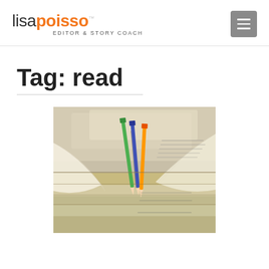lisa poisso — EDITOR & STORY COACH
Tag: read
[Figure (photo): Stack of open books with pencils resting in the spines, photographed close-up with shallow depth of field. Pencils visible are green, blue, and orange. Books are fanned open showing pages from multiple volumes stacked on top of each other.]